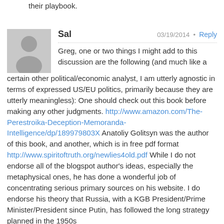their playbook.
[Figure (illustration): Gray placeholder avatar silhouette icon]
Sal   03/19/2014 • Reply
Greg, one or two things I might add to this discussion are the following (and much like a certain other political/economic analyst, I am utterly agnostic in terms of expressed US/EU politics, primarily because they are utterly meaningless): One should check out this book before making any other judgments. http://www.amazon.com/The-Perestroika-Deception-Memoranda-Intelligence/dp/189979803X Anatoliy Golitsyn was the author of this book, and another, which is in free pdf format http://www.spiritoftruth.org/newlies4old.pdf While I do not endorse all of the blogspot author's ideas, especially the metaphysical ones, he has done a wonderful job of concentrating serious primary sources on his website. I do endorse his theory that Russia, with a KGB President/Prime Minister/President since Putin, has followed the long strategy planned in the 1950s to dupe the West into thinking that the era of the Soviet Union was over, and that logically, so was Communism. The playing of